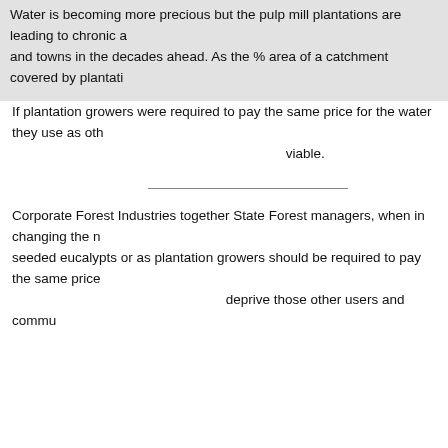Water is becoming more precious but the pulp mill plantations are leading to chronic and towns in the decades ahead. As the % area of a catchment covered by plantati
If plantation growers were required to pay the same price for the water they use as oth viable.
Corporate Forest Industries together State Forest managers, when in changing the n seeded eucalypts or as plantation growers should be required to pay the same price deprive those other users and commu
Was Devil Facial Tumour Disease Caused By Cl